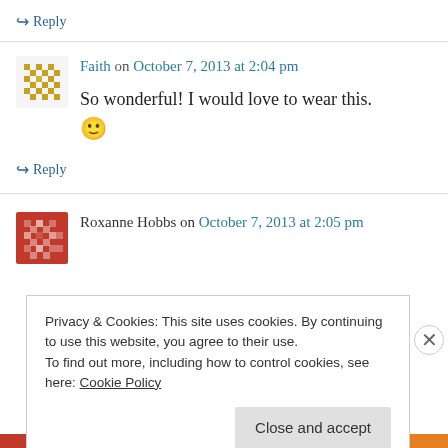↪ Reply
Faith on October 7, 2013 at 2:04 pm
So wonderful! I would love to wear this. 🙂
↪ Reply
Roxanne Hobbs on October 7, 2013 at 2:05 pm
Privacy & Cookies: This site uses cookies. By continuing to use this website, you agree to their use. To find out more, including how to control cookies, see here: Cookie Policy
Close and accept